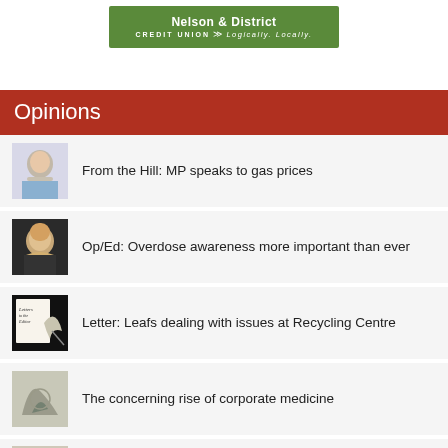[Figure (logo): Nelson & District Credit Union banner — green background, white bold text 'Nelson & District', then 'CREDIT UNION >> Logically. Locally.']
Opinions
From the Hill: MP speaks to gas prices
Op/Ed: Overdose awareness more important than ever
Letter: Leafs dealing with issues at Recycling Centre
The concerning rise of corporate medicine
Minister's statement on progress toward modernizing